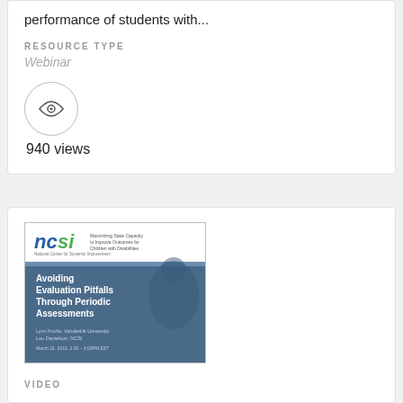performance of students with...
RESOURCE TYPE
Webinar
[Figure (illustration): Eye icon inside a circle representing a view count icon]
940 views
[Figure (screenshot): NCSI webinar thumbnail showing 'Avoiding Evaluation Pitfalls Through Periodic Assessments' by Lynn Fuchs, Vanderbilt University and Lou Danielson, NCSI, March 31, 2016]
VIDEO